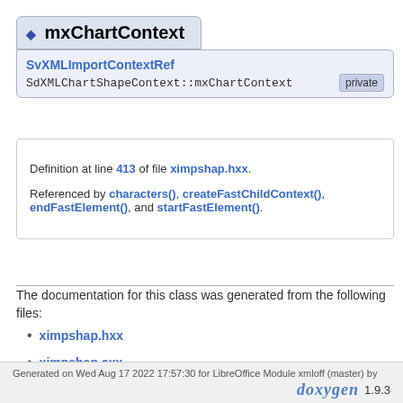mxChartContext
| Member | Access |
| --- | --- |
| SvXMLImportContextRef |  |
| SdXMLChartShapeContext::mxChartContext | private |
Definition at line 413 of file ximpshap.hxx.
Referenced by characters(), createFastChildContext(), endFastElement(), and startFastElement().
The documentation for this class was generated from the following files:
ximpshap.hxx
ximpshap.cxx
Generated on Wed Aug 17 2022 17:57:30 for LibreOffice Module xmloff (master) by doxygen 1.9.3